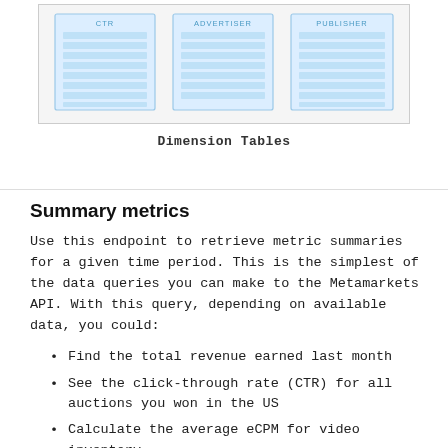[Figure (schematic): Dimension Tables diagram showing three column boxes labeled CTR, ADVERTISER, and PUBLISHER, each containing multiple horizontal row bars in light blue, inside a bordered gray container.]
Dimension Tables
Summary metrics
Use this endpoint to retrieve metric summaries for a given time period. This is the simplest of the data queries you can make to the Metamarkets API. With this query, depending on available data, you could:
Find the total revenue earned last month
See the click-through rate (CTR) for all auctions you won in the US
Calculate the average eCPM for video inventory